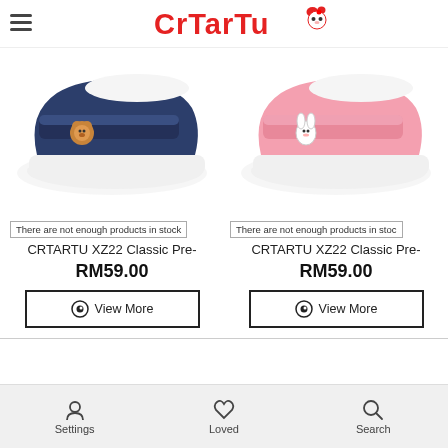CRTARTU logo and navigation
[Figure (photo): Navy blue baby shoe with velcro strap and bear emblem on white sole]
[Figure (photo): Pink baby shoe with velcro strap and bunny emblem on white sole]
There are not enough products in stock
There are not enough products in stock
CRTARTU XZ22 Classic Pre-
CRTARTU XZ22 Classic Pre-
RM59.00
RM59.00
View More
View More
Settings  Loved  Search